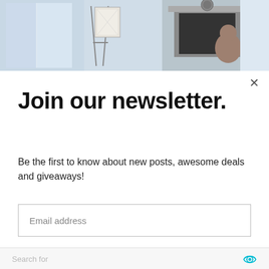[Figure (photo): A partial view of a bright interior room with a fireplace, an easel with artwork, and a person or animal in the background.]
Join our newsletter.
Be the first to know about new posts, awesome deals and giveaways!
Email address
Subscribe
Search for
FARMHOUSE KITCHEN DESIGNS
POLE BARN HOUSE PLANS